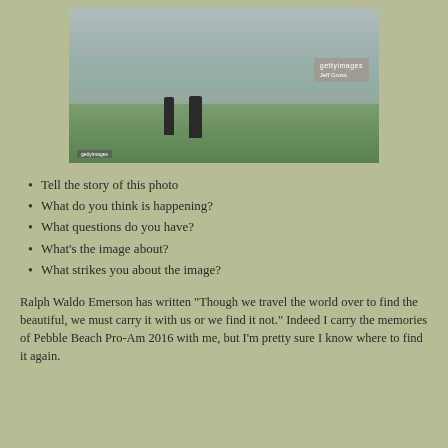[Figure (photo): A foggy golf course scene showing two silhouetted figures (a golfer and caddie) walking on a green fairway amid misty trees. A Getty Images watermark badge appears in the upper right of the photo.]
Tell the story of this photo
What do you think is happening?
What questions do you have?
What's the image about?
What strikes you about the image?
Ralph Waldo Emerson has written "Though we travel the world over to find the beautiful, we must carry it with us or we find it not." Indeed I carry the memories of Pebble Beach Pro-Am 2016 with me, but I'm pretty sure I know where to find it again.